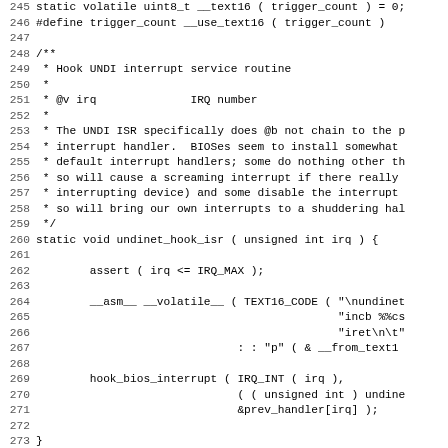Source code listing, lines 245-277, showing C code for undinet hook ISR function with Doxygen comments